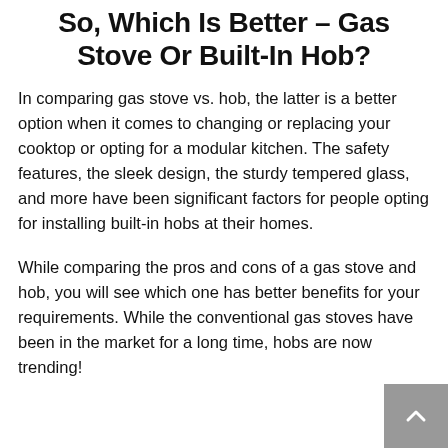So, Which Is Better – Gas Stove Or Built-In Hob?
In comparing gas stove vs. hob, the latter is a better option when it comes to changing or replacing your cooktop or opting for a modular kitchen. The safety features, the sleek design, the sturdy tempered glass, and more have been significant factors for people opting for installing built-in hobs at their homes.
While comparing the pros and cons of a gas stove and hob, you will see which one has better benefits for your requirements. While the conventional gas stoves have been in the market for a long time, hobs are now trending!